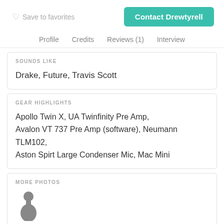Save to favorites
Contact Drewtyrell
Profile   Credits   Reviews (1)   Interview
SOUNDS LIKE
Drake, Future, Travis Scott
GEAR HIGHLIGHTS
Apollo Twin X, UA Twinfinity Pre Amp, Avalon VT 737 Pre Amp (software), Neumann TLM102, Aston Spirt Large Condenser Mic, Mac Mini
MORE PHOTOS
[Figure (photo): Small thumbnail photo of a person silhouette]